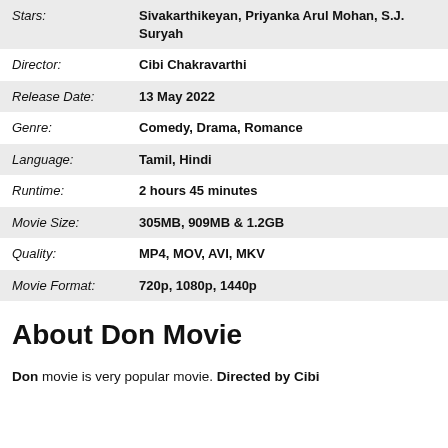| Field | Value |
| --- | --- |
| Stars: | Sivakarthikeyan, Priyanka Arul Mohan, S.J. Suryah |
| Director: | Cibi Chakravarthi |
| Release Date: | 13 May 2022 |
| Genre: | Comedy, Drama, Romance |
| Language: | Tamil, Hindi |
| Runtime: | 2 hours 45 minutes |
| Movie Size: | 305MB, 909MB & 1.2GB |
| Quality: | MP4, MOV, AVI, MKV |
| Movie Format: | 720p, 1080p, 1440p |
About Don Movie
Don movie is very popular movie. Directed by Cibi